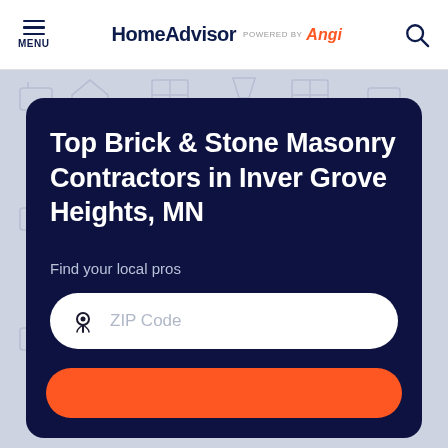MENU | HomeAdvisor powered by Angi
Top Brick & Stone Masonry Contractors in Inver Grove Heights, MN
Find your local pros
ZIP Code